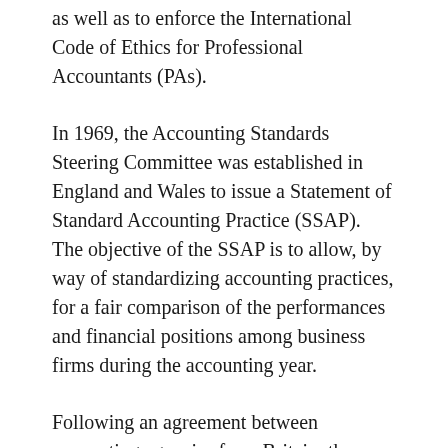as well as to enforce the International Code of Ethics for Professional Accountants (PAs).
In 1969, the Accounting Standards Steering Committee was established in England and Wales to issue a Statement of Standard Accounting Practice (SSAP). The objective of the SSAP is to allow, by way of standardizing accounting practices, for a fair comparison of the performances and financial positions among business firms during the accounting year.
Following an agreement between accounting agencies from Britain, the United States of America, Canada, Australia, Ireland, Netherlands, France, German, Mexico, and Japan, the International Accounting Standards Committee (IASC) was established in London in 1973, and had provided accounting standards known as the International